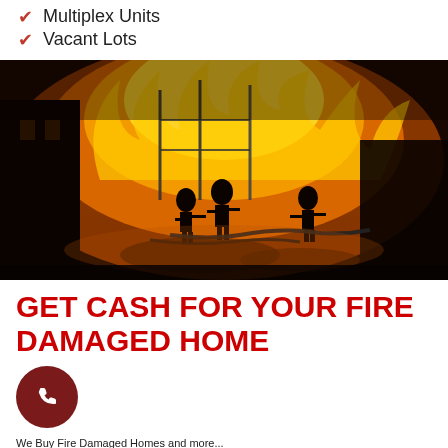Multiplex Units
Vacant Lots
[Figure (photo): Firefighters battling a large building fire at night, silhouetted against intense orange and yellow flames, with water hoses and reflections on the wet ground]
GET CASH FOR YOUR FIRE DAMAGED HOME
[Figure (other): Red circular phone call button icon]
We Buy Fire Damaged Homes and more...